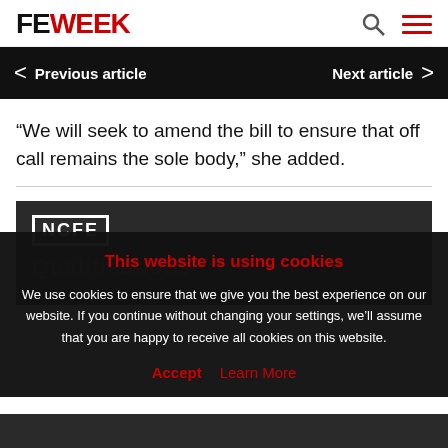FE WEEK
< Previous article   Next article >
“We will seek to amend the bill to ensure that off call remains the sole body,” she added.
[Figure (logo): NCFE logo and Qualifications text on dark background]
This website is using cookies
We use cookies to ensure that we give you the best experience on our website. If you continue without changing your settings, we’ll assume that you are happy to receive all cookies on this website.
Accept   Learn More